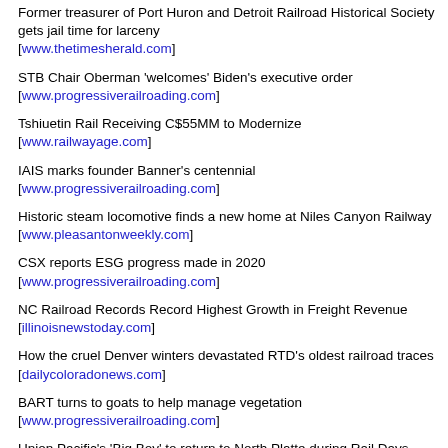Former treasurer of Port Huron and Detroit Railroad Historical Society gets jail time for larceny [www.thetimesherald.com]
STB Chair Oberman 'welcomes' Biden's executive order [www.progressiverailroading.com]
Tshiuetin Rail Receiving C$55MM to Modernize [www.railwayage.com]
IAIS marks founder Banner's centennial [www.progressiverailroading.com]
Historic steam locomotive finds a new home at Niles Canyon Railway [www.pleasantonweekly.com]
CSX reports ESG progress made in 2020 [www.progressiverailroading.com]
NC Railroad Records Record Highest Growth in Freight Revenue [illinoisnewstoday.com]
How the cruel Denver winters devastated RTD's oldest railroad traces [dailycoloradonews.com]
BART turns to goats to help manage vegetation [www.progressiverailroading.com]
Union Pacific's 'Big Boy' to return to North Platte during Rail Days Aug. 6-8 [kearneyhub.com]
Towhey: Union Push for Increased Staffing At Odds With Green Goals of Expanded Rail